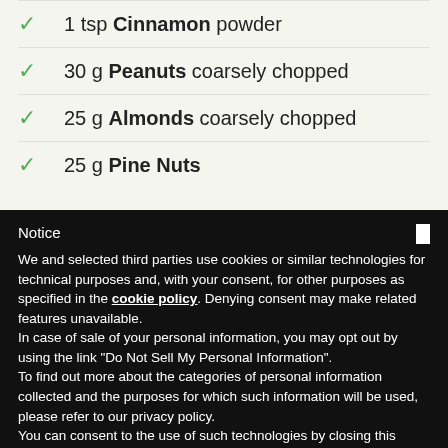1 tsp Cinnamon powder
30 g Peanuts coarsely chopped
25 g Almonds coarsely chopped
25 g Pine Nuts
Notice
We and selected third parties use cookies or similar technologies for technical purposes and, with your consent, for other purposes as specified in the cookie policy. Denying consent may make related features unavailable.
In case of sale of your personal information, you may opt out by using the link "Do Not Sell My Personal Information".
To find out more about the categories of personal information collected and the purposes for which such information will be used, please refer to our privacy policy.
You can consent to the use of such technologies by closing this notice.
Learn more and customize
Reject